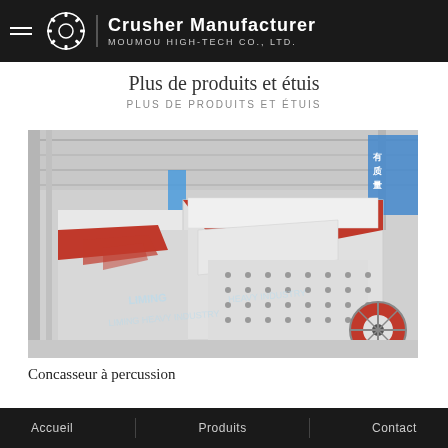Crusher Manufacturer | MOUMOU HIGH-TECH CO., LTD.
Plus de produits et étuis
PLUS DE PRODUITS ET ÉTUIS
[Figure (photo): Industrial factory floor showing a row of large white impact crushers with red accents and orange wheels. Chinese text visible on blue banner in background. LIMING HEAVY INDUSTRY watermark.]
Concasseur à percussion
Accueil   Produits   Contact